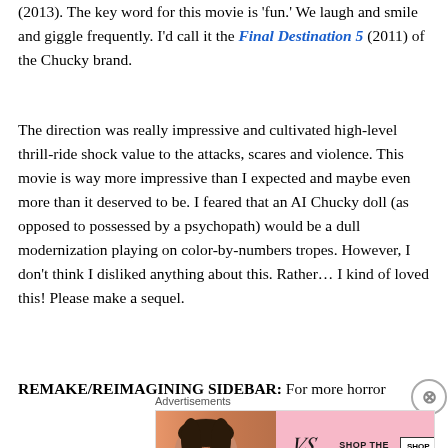(2013). The key word for this movie is 'fun.' We laugh and smile and giggle frequently. I'd call it the Final Destination 5 (2011) of the Chucky brand.
The direction was really impressive and cultivated high-level thrill-ride shock value to the attacks, scares and violence. This movie is way more impressive than I expected and maybe even more than it deserved to be. I feared that an AI Chucky doll (as opposed to possessed by a psychopath) would be a dull modernization playing on color-by-numbers tropes. However, I don't think I disliked anything about this. Rather… I kind of loved this! Please make a sequel.
REMAKE/REIMAGINING SIDEBAR: For more horror
[Figure (other): Victoria's Secret advertisement banner with a model, VS logo, 'SHOP THE COLLECTION' text, and 'SHOP NOW' button on a pink background]